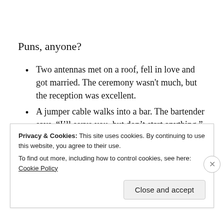Puns, anyone?
Two antennas met on a roof, fell in love and got married. The ceremony wasn't much, but the reception was excellent.
A jumper cable walks into a bar. The bartender says, “I’ll serve you, but don’t start anything.”
A dyslexic man walks into a bra.
Privacy & Cookies: This site uses cookies. By continuing to use this website, you agree to their use.
To find out more, including how to control cookies, see here: Cookie Policy